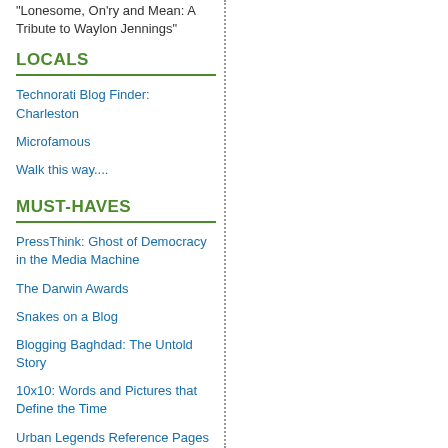"Lonesome, On'ry and Mean: A Tribute to Waylon Jennings"
LOCALS
Technorati Blog Finder: Charleston
Microfamous
Walk this way....
MUST-HAVES
PressThink: Ghost of Democracy in the Media Machine
The Darwin Awards
Snakes on a Blog
Blogging Baghdad: The Untold Story
10x10: Words and Pictures that Define the Time
Urban Legends Reference Pages